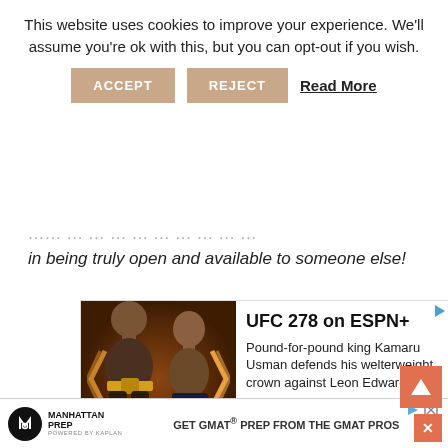This website uses cookies to improve your experience. We'll assume you're ok with this, but you can opt-out if you wish.
ACCEPT | REJECT | Read More
in being truly open and available to someone else!
[Figure (screenshot): UFC 278 advertisement showing two fighters facing each other. Title: UFC 278 on ESPN+. Description: Pound-for-pound king Kamaru Usman defends his welterweight crown against Leon Edwards. BUY NOW button at bottom.]
[Figure (screenshot): Manhattan Prep advertisement banner. Logo with M symbol. Text: MANHATTAN PREP POWERED BY KAPLAN. GET GMAT PREP FROM THE GMAT PROS]